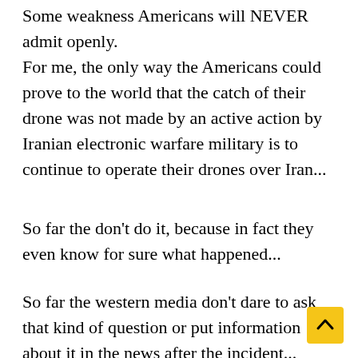Some weakness Americans will NEVER admit openly.
For me, the only way the Americans could prove to the world that the catch of their drone was not made by an active action by Iranian electronic warfare military is to continue to operate their drones over Iran...
So far the don't do it, because in fact they even know for sure what happened...
So far the western media don't dare to ask that kind of question or put information about it in the news after the incident...